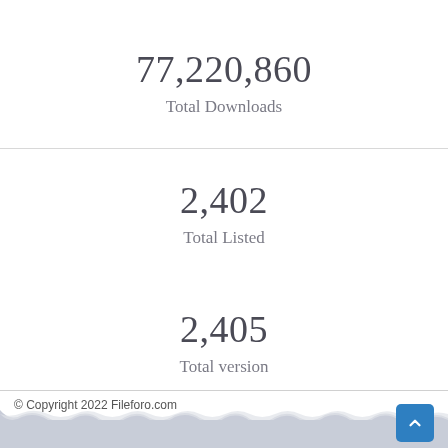77,220,860
Total Downloads
2,402
Total Listed
2,405
Total version
© Copyright 2022 Fileforo.com